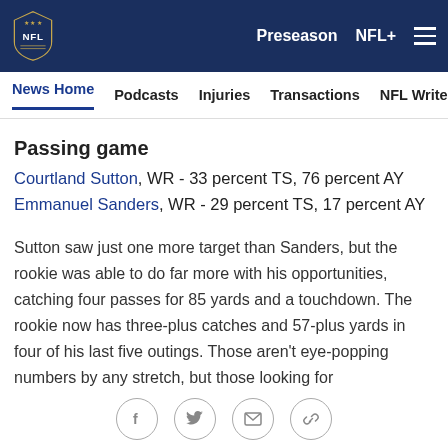NFL — Preseason NFL+
News Home  Podcasts  Injuries  Transactions  NFL Writers  Se
Passing game
Courtland Sutton, WR - 33 percent TS, 76 percent AY
Emmanuel Sanders, WR - 29 percent TS, 17 percent AY
Sutton saw just one more target than Sanders, but the rookie was able to do far more with his opportunities, catching four passes for 85 yards and a touchdown. The rookie now has three-plus catches and 57-plus yards in four of his last five outings. Those aren't eye-popping numbers by any stretch, but those looking for